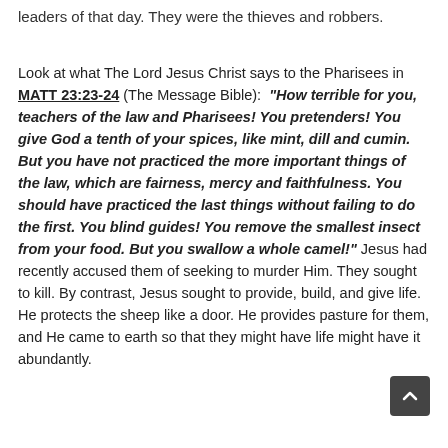leaders of that day. They were the thieves and robbers.
Look at what The Lord Jesus Christ says to the Pharisees in MATT 23:23-24 (The Message Bible): "How terrible for you, teachers of the law and Pharisees! You pretenders! You give God a tenth of your spices, like mint, dill and cumin. But you have not practiced the more important things of the law, which are fairness, mercy and faithfulness. You should have practiced the last things without failing to do the first. You blind guides! You remove the smallest insect from your food. But you swallow a whole camel!" Jesus had recently accused them of seeking to murder Him. They sought to kill. By contrast, Jesus sought to provide, build, and give life. He protects the sheep like a door. He provides pasture for them, and He came to earth so that they might have life might have it abundantly.